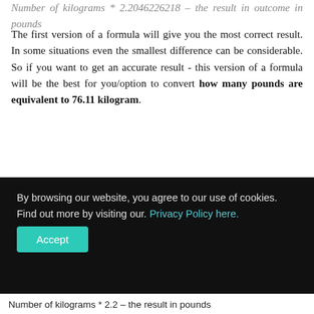Number of kilograms * 2.2046226218 – the result in pounds outcome in pounds
The first version of a formula will give you the most correct result. In some situations even the smallest difference can be considerable. So if you want to get an accurate result - this version of a formula will be the best for you/option to convert how many pounds are equivalent to 76.11 kilogram.
So go to the second formula, which also enables calculations to know how much 76.11 kilogram in
By browsing our website, you agree to our use of cookies. Find out more by visiting our. Privacy Policy here.
Number of kilograms * 2.2 – the result in pounds